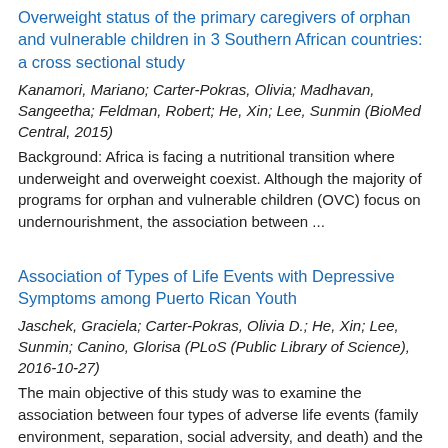Overweight status of the primary caregivers of orphan and vulnerable children in 3 Southern African countries: a cross sectional study
Kanamori, Mariano; Carter-Pokras, Olivia; Madhavan, Sangeetha; Feldman, Robert; He, Xin; Lee, Sunmin (BioMed Central, 2015)
Background: Africa is facing a nutritional transition where underweight and overweight coexist. Although the majority of programs for orphan and vulnerable children (OVC) focus on undernourishment, the association between ...
Association of Types of Life Events with Depressive Symptoms among Puerto Rican Youth
Jaschek, Graciela; Carter-Pokras, Olivia D.; He, Xin; Lee, Sunmin; Canino, Glorisa (PLoS (Public Library of Science), 2016-10-27)
The main objective of this study was to examine the association between four types of adverse life events (family environment, separation, social adversity, and death) and the development of